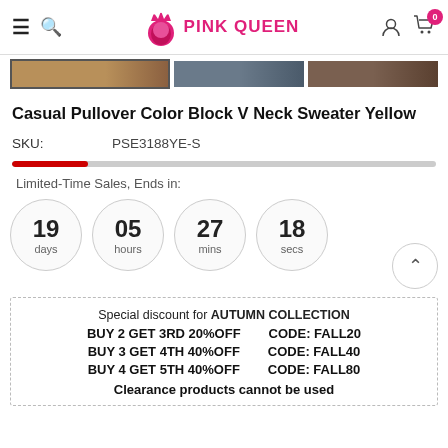PINK QUEEN navigation bar with hamburger, search, logo, user, cart icons
[Figure (screenshot): Three product thumbnail images in a strip, first one selected with border]
Casual Pullover Color Block V Neck Sweater Yellow
SKU: PSE3188YE-S
[Figure (infographic): Limited-Time Sales countdown timer showing 19 days, 05 hours, 27 mins, 18 secs]
Special discount for AUTUMN COLLECTION
BUY 2 GET 3RD 20%OFF   CODE: FALL20
BUY 3 GET 4TH 40%OFF   CODE: FALL40
BUY 4 GET 5TH 40%OFF   CODE: FALL80
Clearance products cannot be used